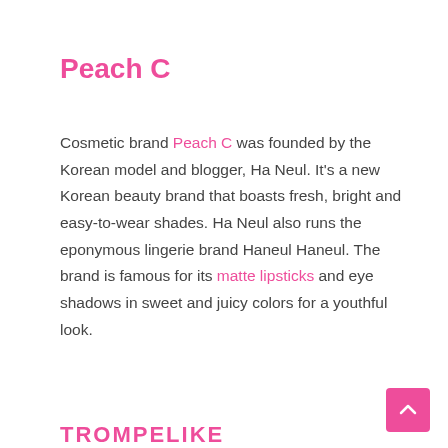Peach C
Cosmetic brand Peach C was founded by the Korean model and blogger, Ha Neul. It's a new Korean beauty brand that boasts fresh, bright and easy-to-wear shades. Ha Neul also runs the eponymous lingerie brand Haneul Haneul. The brand is famous for its matte lipsticks and eye shadows in sweet and juicy colors for a youthful look.
TROMPELIKE